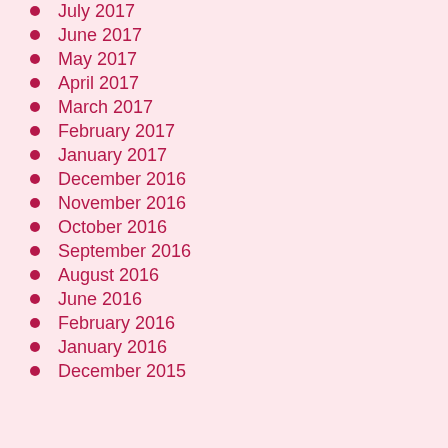July 2017
June 2017
May 2017
April 2017
March 2017
February 2017
January 2017
December 2016
November 2016
October 2016
September 2016
August 2016
June 2016
February 2016
January 2016
December 2015